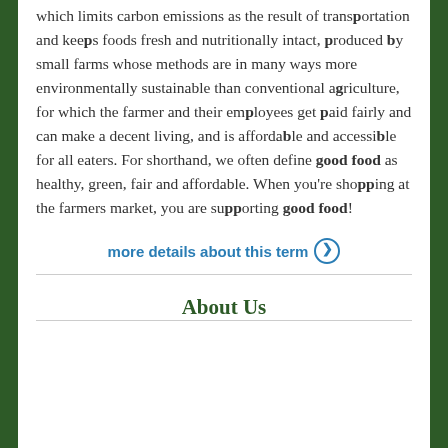which limits carbon emissions as the result of transportation and keeps foods fresh and nutritionally intact, produced by small farms whose methods are in many ways more environmentally sustainable than conventional agriculture, for which the farmer and their employees get paid fairly and can make a decent living, and is affordable and accessible for all eaters. For shorthand, we often define good food as healthy, green, fair and affordable. When you're shopping at the farmers market, you are supporting good food!
more details about this term ❯
About Us